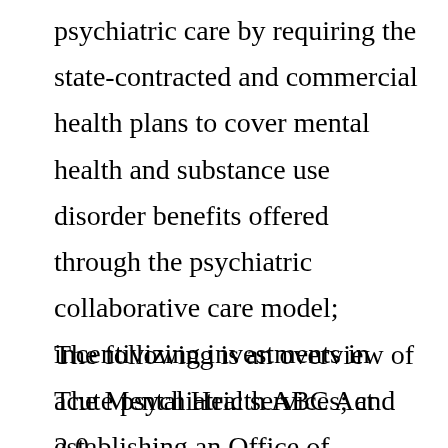psychiatric care by requiring the state-contracted and commercial health plans to cover mental health and substance use disorder benefits offered through the psychiatric collaborative care model; incentivizing investments in acute psychiatric services; and establishing an Office of Behavioral Health Promotion.
The following is an overview of The Mental Health ABC Act 2.0.